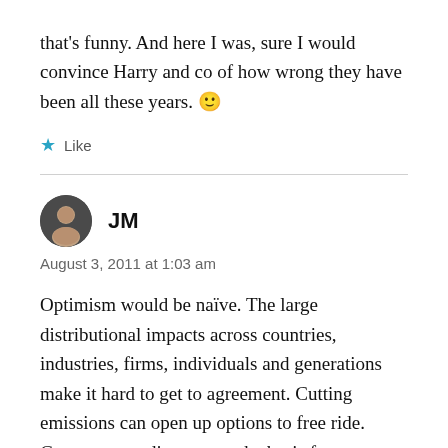that's funny. And here I was, sure I would convince Harry and co of how wrong they have been all these years. 🙂
★ Like
JM
August 3, 2011 at 1:03 am
Optimism would be naïve. The large distributional impacts across countries, industries, firms, individuals and generations make it hard to get to agreement. Cutting emissions can open up options to free ride. Governments disagree on the basis for